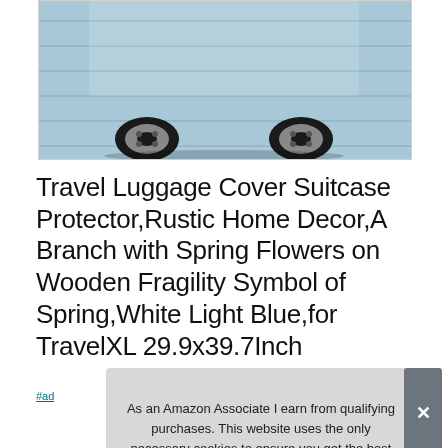[Figure (photo): Bottom portion of a light blue suitcase with wheels visible, product image for luggage cover]
Travel Luggage Cover Suitcase Protector,Rustic Home Decor,A Branch with Spring Flowers on Wooden Fragility Symbol of Spring,White Light Blue,for TravelXL 29.9x39.7Inch
#ad
As an Amazon Associate I earn from qualifying purchases. This website uses the only necessary cookies to ensure you get the best experience on our website. More information